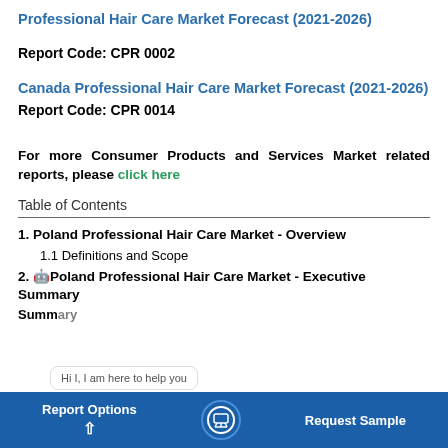Professional Hair Care Market Forecast (2021-2026)
Report Code: CPR 0002
Canada Professional Hair Care Market Forecast (2021-2026)
Report Code: CPR 0014
For more Consumer Products and Services Market related reports, please click here
Table of Contents
1. Poland Professional Hair Care Market - Overview
1.1 Definitions and Scope
2. Poland Professional Hair Care Market - Executive Summary
Report Options | Request Sample